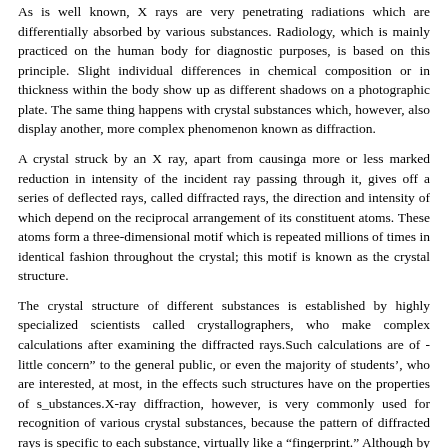As is well known, X rays are very penetrating radiations which are differentially absorbed by various substances. Radiology, which is mainly practiced on the human body for diagnostic purposes, is based on this principle. Slight individual differences in chemical composition or in thickness within the body show up as different shadows on a photographic plate. The same thing happens with crystal substances which, however, also display another, more complex phenomenon known as diffraction.
A crystal struck by an X ray, apart from causinga more or less marked reduction in intensity of the incident ray passing through it, gives off a series of deflected rays, called diffracted rays, the direction and intensity of which depend on the reciprocal arrangement of its constituent atoms. These atoms form a three-dimensional motif which is repeated millions of times in identical fashion throughout the crystal; this motif is known as the crystal structure.
The crystal structure of different substances is established by highly specialized scientists called crystallographers, who make complex calculations after examining the diffracted rays.Such calculations are of little concern" to the general public, or even the majority of students', who are interested, at most, in the effects such structures have on the properties of s_ubstances.X-ray diffraction, however, is very commonly used for recognition of various crystal substances, because the pattern of diffracted rays is specific to each substance, virtually like a “fingerprint.” Although by far the most common means of identification in mineralogy, it is hardly ever used in gemology, for two reasons. The first